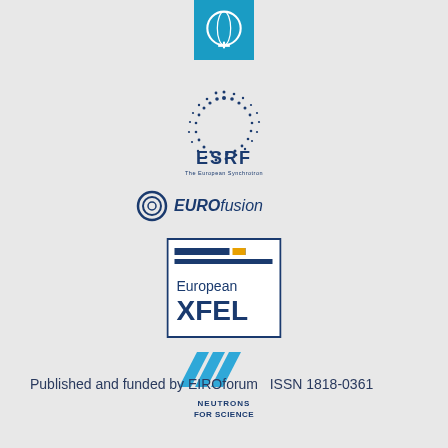[Figure (logo): CERN logo: light blue square with circular emblem and cross/plus symbol in white]
[Figure (logo): ESRF logo: circular dotted starburst pattern above text 'ESRF' and 'The European Synchrotron']
[Figure (logo): EUROfusion logo: circular ring icon with text 'EUROfusion' in italic]
[Figure (logo): European XFEL logo: rectangular box with dark horizontal bars and gold square, text 'European XFEL']
[Figure (logo): ILL Neutrons for Science logo: stylized blue parallelogram shapes above text 'NEUTRONS FOR SCIENCE']
Published and funded by EIROforum   ISSN 1818-0361